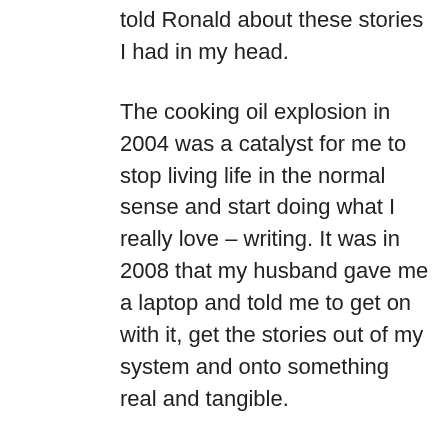told Ronald about these stories I had in my head.
The cooking oil explosion in 2004 was a catalyst for me to stop living life in the normal sense and start doing what I really love – writing. It was in 2008 that my husband gave me a laptop and told me to get on with it, get the stories out of my system and onto something real and tangible.
I sat down and it just poured out of me. It has not stopped. I am still writing.
M – Then, if this just 'pours' out as you state, do you not plot the story, outline it formally, or at least mentally?